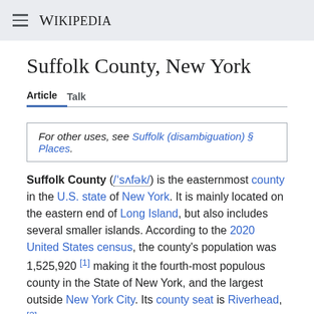Wikipedia
Suffolk County, New York
Article  Talk
For other uses, see Suffolk (disambiguation) § Places.
Suffolk County (/ˈsʌfək/) is the easternmost county in the U.S. state of New York. It is mainly located on the eastern end of Long Island, but also includes several smaller islands. According to the 2020 United States census, the county's population was 1,525,920 [1] making it the fourth-most populous county in the State of New York, and the largest outside New York City. Its county seat is Riverhead,[2] though most county offices are in